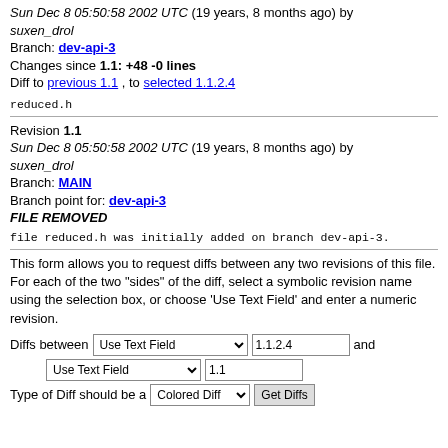Sun Dec 8 05:50:58 2002 UTC (19 years, 8 months ago) by suxen_drol
Branch: dev-api-3
Changes since 1.1: +48 -0 lines
Diff to previous 1.1 , to selected 1.1.2.4
reduced.h
Revision 1.1
Sun Dec 8 05:50:58 2002 UTC (19 years, 8 months ago) by suxen_drol
Branch: MAIN
Branch point for: dev-api-3
FILE REMOVED
file reduced.h was initially added on branch dev-api-3.
This form allows you to request diffs between any two revisions of this file. For each of the two "sides" of the diff, select a symbolic revision name using the selection box, or choose 'Use Text Field' and enter a numeric revision.
Diffs between [Use Text Field dropdown] 1.1.2.4 and [Use Text Field dropdown] 1.1
Type of Diff should be a [Colored Diff dropdown] [Get Diffs button]